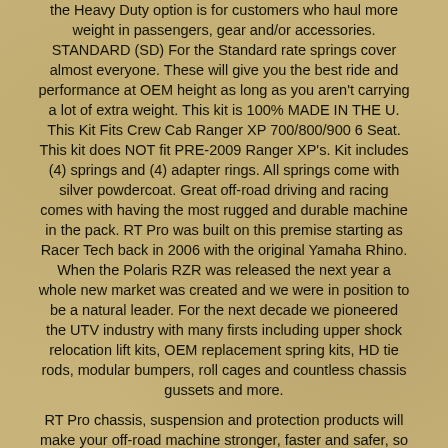the Heavy Duty option is for customers who haul more weight in passengers, gear and/or accessories. STANDARD (SD) For the Standard rate springs cover almost everyone. These will give you the best ride and performance at OEM height as long as you aren't carrying a lot of extra weight. This kit is 100% MADE IN THE U. This Kit Fits Crew Cab Ranger XP 700/800/900 6 Seat. This kit does NOT fit PRE-2009 Ranger XP's. Kit includes (4) springs and (4) adapter rings. All springs come with silver powdercoat. Great off-road driving and racing comes with having the most rugged and durable machine in the pack. RT Pro was built on this premise starting as Racer Tech back in 2006 with the original Yamaha Rhino. When the Polaris RZR was released the next year a whole new market was created and we were in position to be a natural leader. For the next decade we pioneered the UTV industry with many firsts including upper shock relocation lift kits, OEM replacement spring kits, HD tie rods, modular bumpers, roll cages and countless chassis gussets and more.
RT Pro chassis, suspension and protection products will make your off-road machine stronger, faster and safer, so you can have more fun and less breakdowns. For the past decade, RT Pro staff have been taking brand new UTVs and driving them to